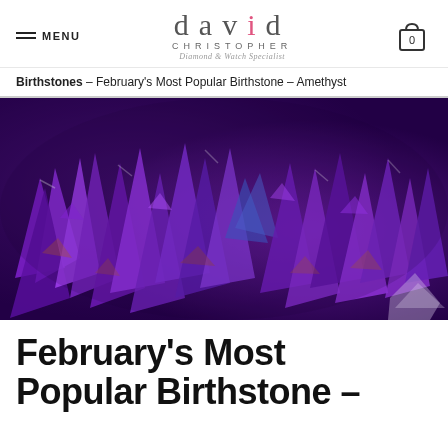david CHRISTOPHER Diamond & Watch Specialist
Birthstones – February's Most Popular Birthstone – Amethyst
[Figure (photo): Close-up photograph of amethyst crystals — deep purple gemstone clusters with violet and blue hues, some with orange/copper inclusions, dramatic macro shot]
February's Most Popular Birthstone –